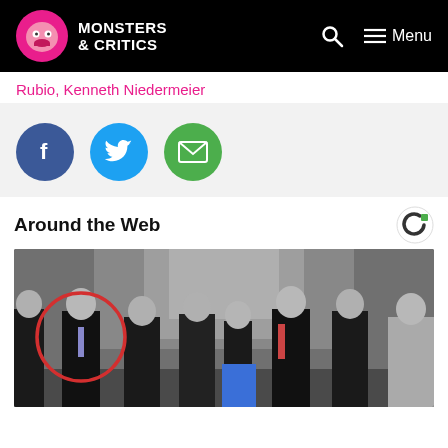Monsters & Critics
Rubio, Kenneth Niedermeier
[Figure (other): Social share buttons: Facebook (blue circle), Twitter (light blue circle), Email (green circle)]
Around the Web
[Figure (photo): Group photo of several people standing indoors in formal attire. One man on the left is highlighted with a red circle around him. Other faces are blurred out.]